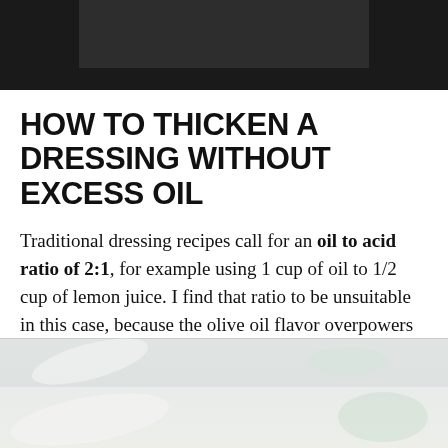[Figure (photo): Partial photo at top of page with dark/black background, showing a cropped food or dressing image]
HOW TO THICKEN A DRESSING WITHOUT EXCESS OIL
Traditional dressing recipes call for an oil to acid ratio of 2:1, for example using 1 cup of oil to 1/2 cup of lemon juice. I find that ratio to be unsuitable in this case, because the olive oil flavor overpowers the lemon juice.
[Figure (photo): Partial photo at bottom of page showing a blurred/cream colored food or dressing image]